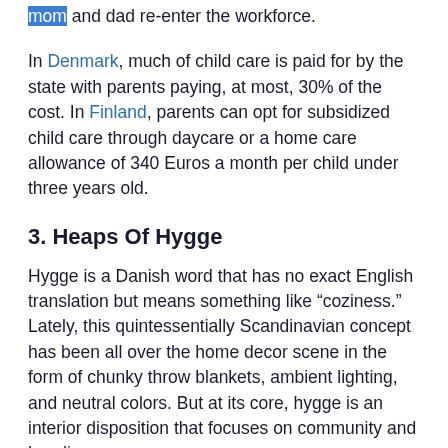mom and dad re-enter the workforce.
In Denmark, much of child care is paid for by the state with parents paying, at most, 30% of the cost. In Finland, parents can opt for subsidized child care through daycare or a home care allowance of 340 Euros a month per child under three years old.
3. Heaps Of Hygge
Hygge is a Danish word that has no exact English translation but means something like “coziness.” Lately, this quintessentially Scandinavian concept has been all over the home decor scene in the form of chunky throw blankets, ambient lighting, and neutral colors. But at its core, hygge is an interior disposition that focuses on community and bonding.